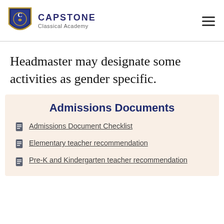CAPSTONE Classical Academy
Headmaster may designate some activities as gender specific.
Admissions Documents
Admissions Document Checklist
Elementary teacher recommendation
Pre-K and Kindergarten teacher recommendation